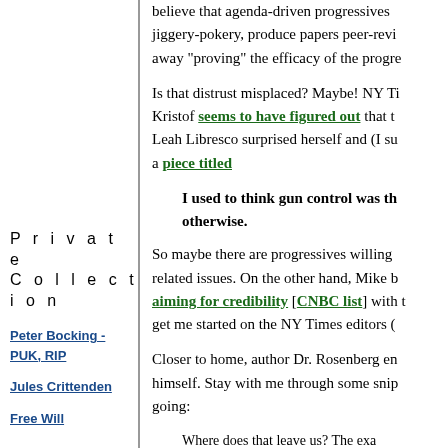believe that agenda-driven progressives... jiggery-pokery, produce papers peer-revi... away "proving" the efficacy of the progre...
Is that distrust misplaced? Maybe! NY Ti... Kristof seems to have figured out that t... Leah Libresco surprised herself and (I su... a piece titled
I used to think gun control was th... otherwise.
So maybe there are progressives willing... related issues. On the other hand, Mike b... aiming for credibility [CNBC list] with t... get me started on the NY Times editors (...
Closer to home, author Dr. Rosenberg en... himself. Stay with me through some snip... going:
Where does that leave us? The exa... shootings—and the best ways to pr... all these years after Columbine. Sh... health? Would a ban on semi-auto... problem? What if the surest bet is f...
Private Collection
Peter Bocking - PUK, RIP
Jules Crittenden
Free Will